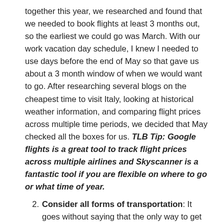together this year, we researched and found that we needed to book flights at least 3 months out, so the earliest we could go was March. With our work vacation day schedule, I knew I needed to use days before the end of May so that gave us about a 3 month window of when we would want to go. After researching several blogs on the cheapest time to visit Italy, looking at historical weather information, and comparing flight prices across multiple time periods, we decided that May checked all the boxes for us. TLB Tip: Google flights is a great tool to track flight prices across multiple airlines and Skyscanner is a fantastic tool if you are flexible on where to go or what time of year.
Consider all forms of transportation: It goes without saying that the only way to get from